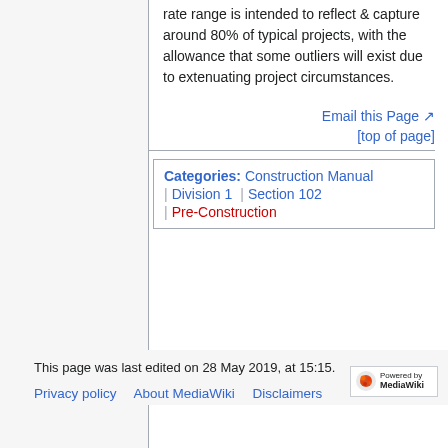rate range is intended to reflect & capture around 80% of typical projects, with the allowance that some outliers will exist due to extenuating project circumstances.
Email this Page
[top of page]
Categories: Construction Manual | Division 1 | Section 102 | Pre-Construction
This page was last edited on 28 May 2019, at 15:15.
Privacy policy   About MediaWiki   Disclaimers